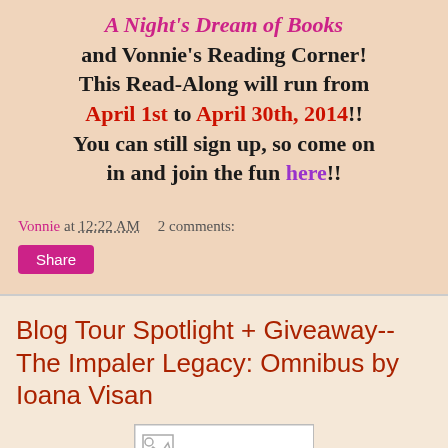A Night's Dream of Books and Vonnie's Reading Corner! This Read-Along will run from April 1st to April 30th, 2014!! You can still sign up, so come on in and join the fun here!!
Vonnie at 12:22 AM   2 comments:
Share
Blog Tour Spotlight + Giveaway-- The Impaler Legacy: Omnibus by Ioana Visan
[Figure (other): Partial image placeholder at bottom of page]